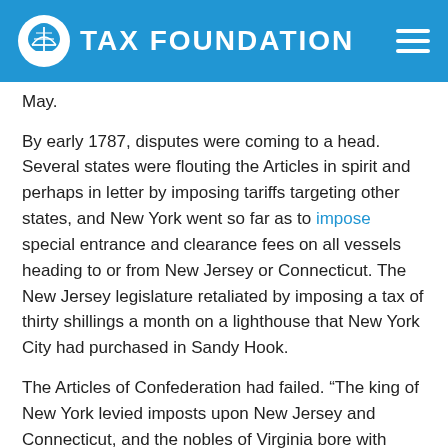TAX FOUNDATION
May.
By early 1787, disputes were coming to a head. Several states were flouting the Articles in spirit and perhaps in letter by imposing tariffs targeting other states, and New York went so far as to impose special entrance and clearance fees on all vessels heading to or from New Jersey or Connecticut. The New Jersey legislature retaliated by imposing a tax of thirty shillings a month on a lighthouse that New York City had purchased in Sandy Hook.
The Articles of Confederation had failed. “The king of New York levied imposts upon New Jersey and Connecticut, and the nobles of Virginia bore with impatience their tributary dependence upon Baltimore and Philadelphia. Our discontents were fermenting into civil war,” lamented Fisher Ames.